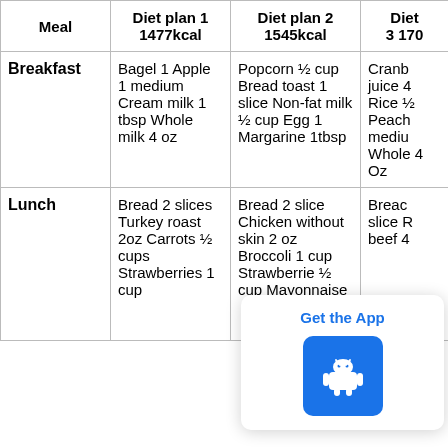| Meal | Diet plan 1
1477kcal | Diet plan 2
1545kcal | Diet
3 170 |
| --- | --- | --- | --- |
| Breakfast | Bagel 1 Apple 1 medium Cream milk 1 tbsp Whole milk 4 oz | Popcorn ½ cup Bread toast 1 slice Non-fat milk ½ cup Egg 1 Margarine 1tbsp | Cranb juice 4 Rice ½ Peach mediu Whole 4 Oz |
| Lunch | Bread 2 slices Turkey roast 2oz Carrots ½ cups Strawberries 1 cup | Bread 2 slice Chicken without skin 2 oz Broccoli 1 cup Strawberries ½ cup Mayonnaise | Breac slice R beef 4 2tbsp |
[Figure (other): Get the App overlay with Android robot icon button]